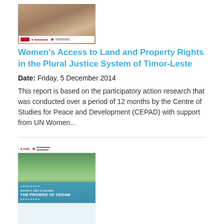[Figure (photo): Thumbnail image of report cover for Women's Access to Land and Property Rights, showing people at a table with a white/maroon color scheme and organization logos at bottom]
Women's Access to Land and Property Rights in the Plural Justice System of Timor-Leste
Date: Friday, 5 December 2014
This report is based on the participatory action research that was conducted over a period of 12 months by the Centre of Studies for Peace and Development (CEPAD) with support from UN Women...
[Figure (photo): Thumbnail image of report cover for Women's Right to Equality: The Promise of CEDAW, showing a street scene with a woman on a bicycle and teal/blue overlay with title text]
Women's Right to Equality: The Promise of CEDAW
Date: Wednesday, 16 July 2014
This paper enshrines the concept of equality through CEDAW to provide a resource for the ASEAN Intergovernmental Human Rights Commission (AICHR) in its engagement with the ASEAN...